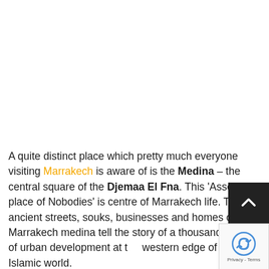A quite distinct place which pretty much everyone visiting Marrakech is aware of is the Medina – the central square of the Djemaa El Fna. This 'Assembly place of Nobodies' is centre of Marrakech life. The ancient streets, souks, businesses and homes of the Marrakech medina tell the story of a thousand years of urban development at the western edge of the Islamic world.